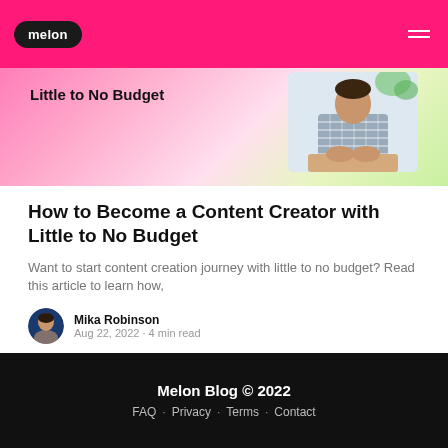melon
[Figure (photo): Blog article card hero image with pink-to-green gradient background and photo of a person sitting at a desk with hands clasped, with text overlay 'Little to No Budget']
How to Become a Content Creator with Little to No Budget
Want to start content creation journey with little to no budget? Read this article to learn how,
Mika Robinson
Aug 22, 2022 · 4 min read
Melon Blog © 2022
FAQ · Privacy · Terms · Contact